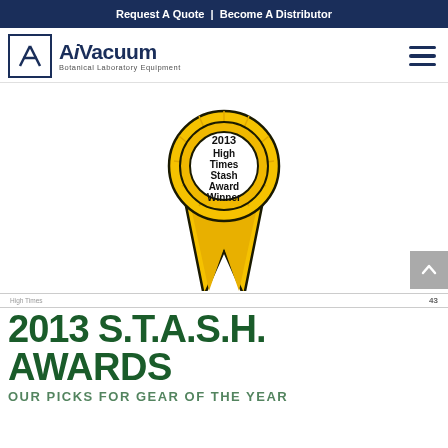Request A Quote | Become A Distributor
[Figure (logo): AiVacuum Botanical Laboratory Equipment logo with navigation hamburger menu]
[Figure (illustration): Gold award ribbon/rosette with text: 2013 High Times Stash Award Winner]
High Times | 43
2013 S.T.A.S.H. AWARDS
OUR PICKS FOR GEAR OF THE YEAR